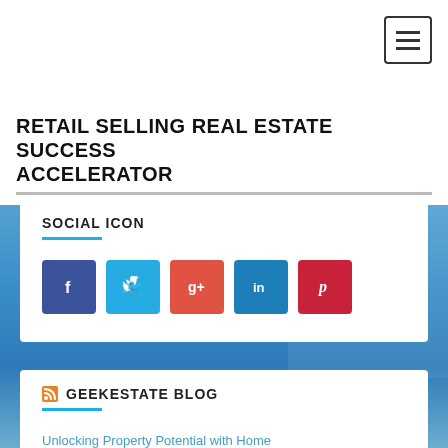RETAIL SELLING REAL ESTATE SUCCESS ACCELERATOR
SOCIAL ICON
[Figure (infographic): Five social media icon buttons: Facebook (dark blue), Twitter (light blue), Google+ (red-orange), LinkedIn (blue), Pinterest (red)]
GEEKESTATE BLOG
Unlocking Property Potential with Home